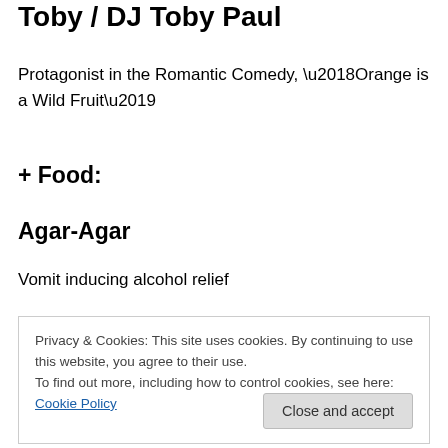Toby / DJ Toby Paul
Protagonist in the Romantic Comedy, ‘Orange is a Wild Fruit’
+ Food:
Agar-Agar
Vomit inducing alcohol relief
Privacy & Cookies: This site uses cookies. By continuing to use this website, you agree to their use.
To find out more, including how to control cookies, see here: Cookie Policy
(1970-1999)